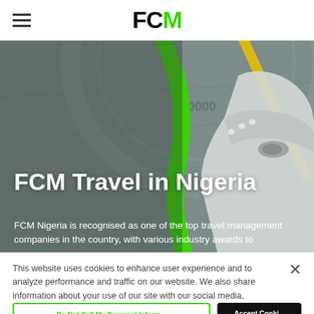FCM
[Figure (photo): Aerial view of an airplane on a tarmac runway, with a green curved stripe and yellow stripe overlay, grey sky background]
FCM Travel in Nigeria
FCM Nigeria is recognised as one of the top travel management companies in the country, with various industry awards to
This website uses cookies to enhance user experience and to analyze performance and traffic on our website. We also share information about your use of our site with our social media, advertising and analytics partners.